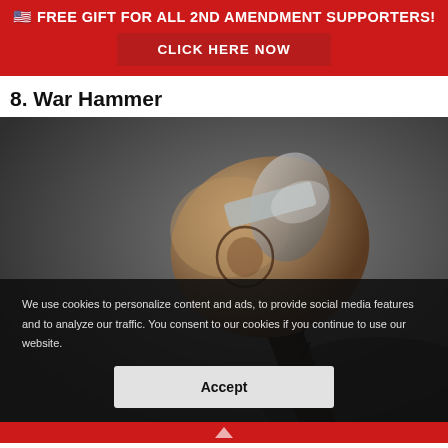🇺🇸 FREE GIFT FOR ALL 2ND AMENDMENT SUPPORTERS! CLICK HERE NOW
8. War Hammer
[Figure (photo): Close-up photograph of a war hammer head, dark gray background, rough stone-textured metal hammer with engraving visible]
We use cookies to personalize content and ads, to provide social media features and to analyze our traffic. You consent to our cookies if you continue to use our website.
Accept